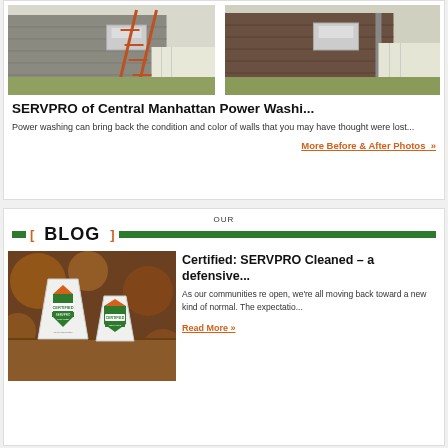[Figure (photo): Before and after photos of a house exterior with ladder and power washing]
SERVPRO of Central Manhattan Power Washi...
Power washing can bring back the condition and color of walls that you may have thought were lost...
More Before & After Photos »
OUR BLOG
[Figure (photo): Certified SERVPRO Cleaned branded tent cards on a table]
Certified: SERVPRO Cleaned – a defensive...
As our communities re open, we're all moving back toward a new kind of normal. The expectatio...
Read More »